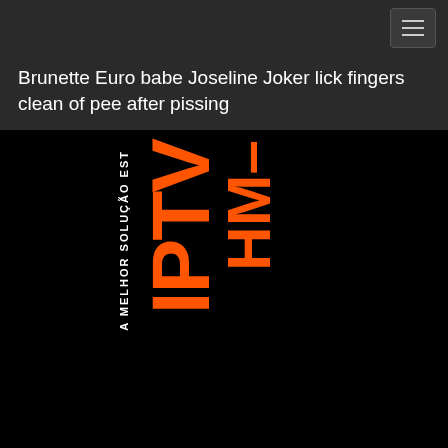☰
Brunette Euro babe Joseline Joker lick fingers clean of pee after pissing
[Figure (screenshot): Dark background image with vertical orange large text 'IPTV' and 'HM-' and white vertical smaller text 'A MELHOR SOLUÇÃO EST' — appears to be a logo/advertisement for an IPTV service called IPTV HM]